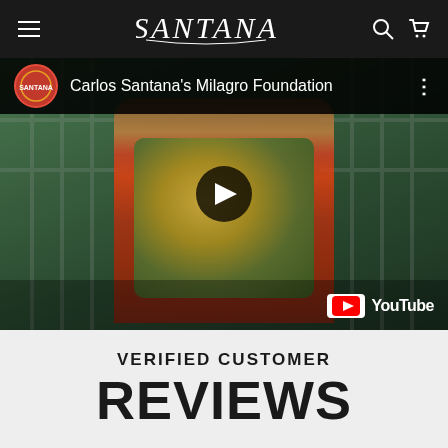SANTANA (navigation bar with hamburger menu, logo, search and cart icons)
[Figure (screenshot): YouTube embedded video thumbnail showing Carlos Santana standing outdoors in front of iron gates, wearing a colorful Hawaiian shirt with a graphic face print. Title bar reads 'Carlos Santana's Milagro Foundation' with Santana channel icon. YouTube logo visible in bottom right corner. Play button overlay in center.]
VERIFIED CUSTOMER
REVIEWS